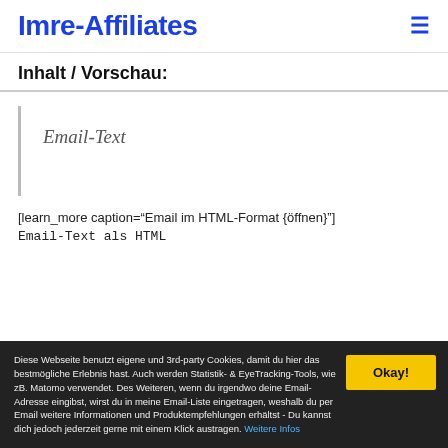Imre-Affiliates
Inhalt / Vorschau:
Email-Text
[learn_more caption="Email im HTML-Format {öffnen}"]
Email-Text als HTML
Diese Webseite benutzt eigene und 3rd-party Cookies, damit du hier das bestmögliche Erlebnis hast. Auch werden Statistik- & EyeTracking-Tools, wie zB. Matomo verwendet. Des Weiteren, wenn du irgendwo deine Email-Adresse eingibst, wirst du in meine Email-Liste eingetragen, weshalb du per Email weitere Informationen und Produktempfehlungen erhältst - Du kannst dich jedoch jederzeit gerne mit einem Klick austragen. Weitere Infos